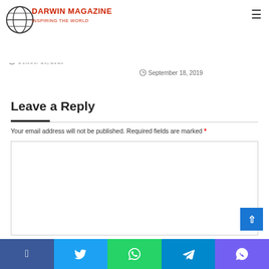Darwin Magazine - Inspiring the World
Royal Enfield Classic 350 Buyers Guide: What Should Buyers Check?
October 18, 2019
[Figure (photo): Gray/beige image placeholder for article thumbnail]
The Virtue of Best Robotic Process Automation Service Provider
September 18, 2019
Leave a Reply
Your email address will not be published. Required fields are marked *
[Figure (screenshot): Empty comment text area input box]
Social share buttons: Facebook, Twitter, WhatsApp, Telegram, Viber